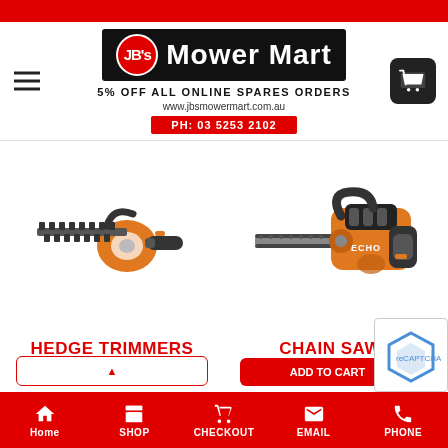JB's Mower Mart — 5% OFF ALL ONLINE SPARES ORDERS — www.jbsmowermart.com.au — PH: 03 5253 2102
[Figure (photo): Hedge trimmer product photo — orange and black petrol hedge trimmer]
HEDGE TRIMMERS
from $399
[Figure (photo): Chain saw product photo — orange ECHO branded chainsaw]
CHAIN SAWS
from $399
Home | SHOP | CHECKOUT | EMAIL | PHONE